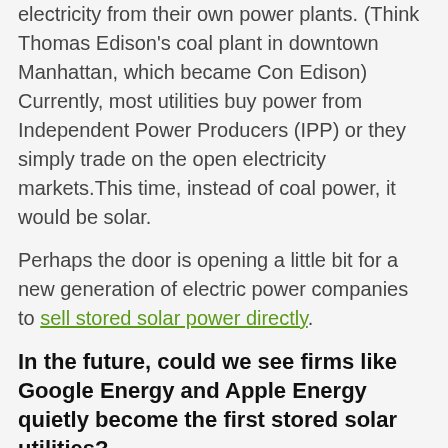electricity from their own power plants. (Think Thomas Edison's coal plant in downtown Manhattan, which became Con Edison) Currently, most utilities buy power from Independent Power Producers (IPP) or they simply trade on the open electricity markets.This time, instead of coal power, it would be solar.
Perhaps the door is opening a little bit for a new generation of electric power companies to sell stored solar power directly.
In the future, could we see firms like Google Energy and Apple Energy quietly become the first stored solar utilities?
Top image Credit: Flickr, under CC li...